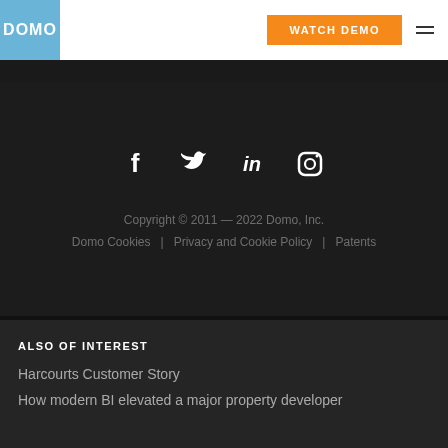DOMO | WATCH DEMO
[Figure (logo): Domo logo in white text on blue background]
[Figure (infographic): Social media icons: Facebook, Twitter, LinkedIn, Instagram in white on dark background]
Copyright © 2011 — 2022 Domo, Inc.
Domo Cookies  |  Privacy and Cookie Policy  |  Patents
ALSO OF INTEREST
Harcourts Customer Story
How modern BI elevated a major property developer